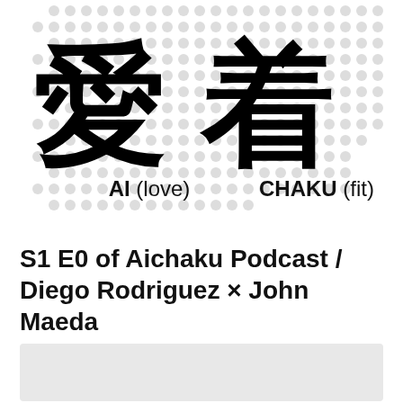[Figure (logo): Aichaku podcast logo with Japanese kanji characters 愛着 (ai chaku) overlaid on a dotted halftone pattern background, with labels AI (love) and CHAKU (fit) below]
S1 E0 of Aichaku Podcast / Diego Rodriguez × John Maeda
January 17, 2019
[Figure (other): Embedded audio player or media widget placeholder (gray box)]